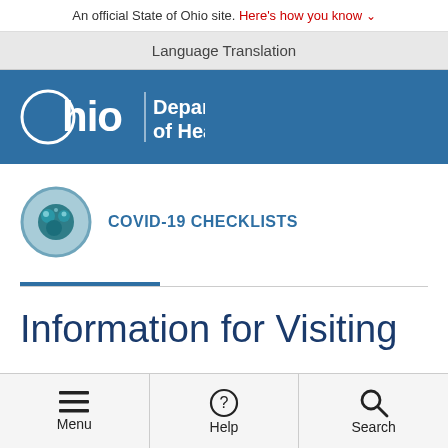An official State of Ohio site. Here's how you know
Language Translation
[Figure (logo): Ohio Department of Health logo with Ohio text and circle O on blue background]
COVID-19 CHECKLISTS
Information for Visiting
Menu  Help  Search